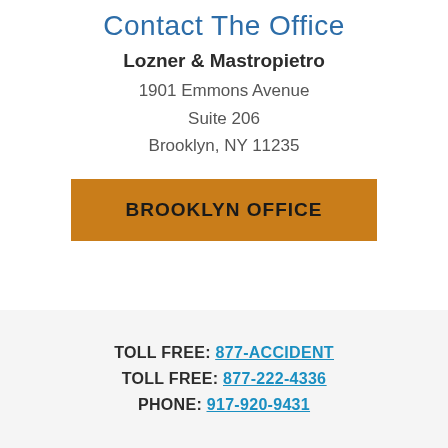Contact The Office
Lozner & Mastropietro
1901 Emmons Avenue
Suite 206
Brooklyn, NY 11235
BROOKLYN OFFICE
TOLL FREE: 877-ACCIDENT
TOLL FREE: 877-222-4336
PHONE: 917-920-9431